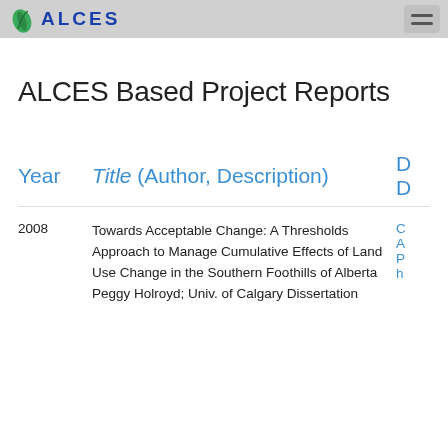[Figure (logo): ALCES logo with green leaf icon and blue ALCES text in navbar]
ALCES Based Project Reports
| Year | Title (Author, Description) | D... |
| --- | --- | --- |
| 2008 | Towards Acceptable Change: A Thresholds Approach to Manage Cumulative Effects of Land Use Change in the Southern Foothills of Alberta Peggy Holroyd; Univ. of Calgary Dissertation | C A P h |